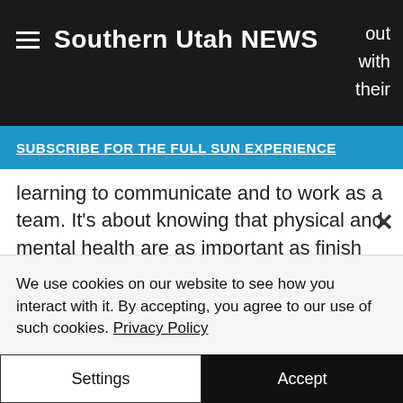Southern Utah NEWS
SUBSCRIBE FOR THE FULL SUN EXPERIENCE
learning to communicate and to work as a team. It’s about knowing that physical and mental health are as important as finish times and medals won.
Coach LeFevre said, “I am humbled and grateful to be the recipient of this award, but would also like to
We use cookies on our website to see how you interact with it. By accepting, you agree to our use of such cookies. Privacy Policy